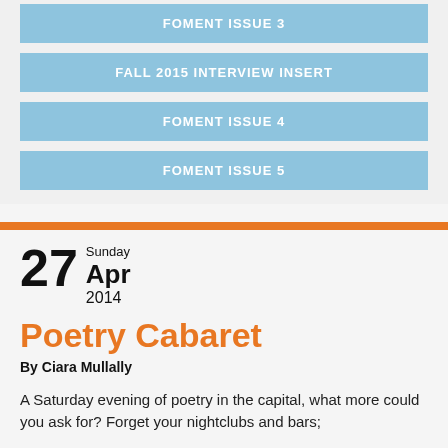FOMENT ISSUE 3
FALL 2015 INTERVIEW INSERT
FOMENT ISSUE 4
FOMENT ISSUE 5
27 Sunday Apr 2014
Poetry Cabaret
By Ciara Mullally
A Saturday evening of poetry in the capital, what more could you ask for? Forget your nightclubs and bars;